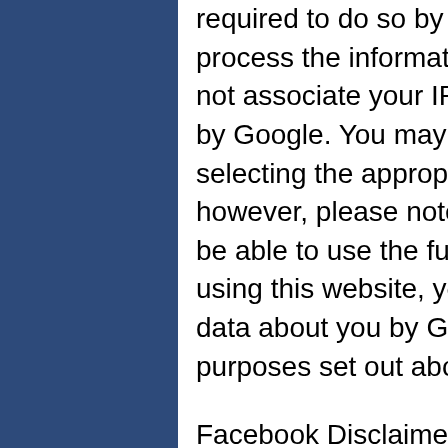required to do so by law, or where such third parties process the information on Google's behalf. Google will not associate your IP address with any other data held by Google. You may refuse the use of cookies by selecting the appropriate settings on your browser – however, please note that if you do this, you may not be able to use the full functionality of this website. By using this website, you consent to the processing of data about you by Google in the manner and for the purposes set out above.
Facebook Disclaimer Opinions expressed therein are the personal opinions of the original authors, not of The City of Highland Park. The content is provided as a public service and for informational purposes only and is not meant to be an endorsement or representation by The City of Highland Park or any other individual or entity. This site is available to the public. No information you consider confidential should be posted to